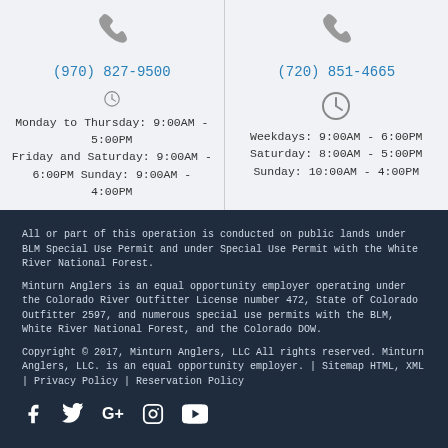(970) 827-9500
Monday to Thursday: 9:00AM - 5:00PM Friday and Saturday: 9:00AM - 6:00PM Sunday: 9:00AM - 4:00PM
(720) 851-4665
Weekdays: 9:00AM - 6:00PM Saturday: 8:00AM - 5:00PM Sunday: 10:00AM - 4:00PM
All or part of this operation is conducted on public lands under BLM Special Use Permit and under Special Use Permit with the White River National Forest.
Minturn Anglers is an equal opportunity employer operating under the Colorado River Outfitter License number 472, State of Colorado Outfitter 2597, and numerous special use permits with the BLM, White River National Forest, and the Colorado DOW.
Copyright © 2017, Minturn Anglers, LLC All rights reserved. Minturn Anglers, LLC. is an equal opportunity employer. | Sitemap HTML, XML | Privacy Policy | Reservation Policy
[Figure (illustration): Social media icons: Facebook, Twitter, Google+, Instagram, YouTube]